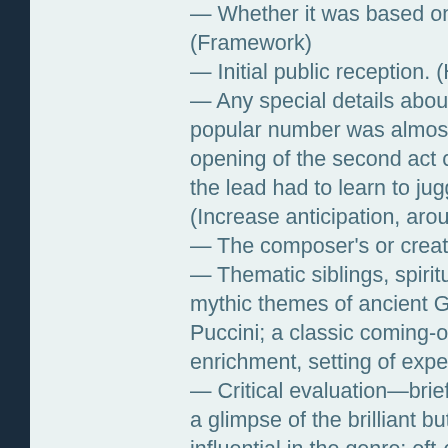— Whether it was based on some other work or source. (Framework)
— Initial public reception. (Historic perspective)
— Any special details about the production (e.g., the most popular number was almost cut from the first production; the opening of the second act once caused a theater fire in Paris; the lead had to learn to juggle in order to play the part). (Increase anticipation, arouse awareness of the art per se)
— The composer's or creator's vision. (Understanding)
— Thematic siblings, spiritual cousins (e.g., draws heavily on mythic themes of ancient Greece; in the tradition of Verdi and Puccini; a classic coming-of-age story). (Orientation, enrichment, setting of expectations)
— Critical evaluation—brief summary (e.g., considered his best; a glimpse of the brilliant but immature work of ~~; enormously influential in the genre; oft-overlooked small gem). (Interpretation, setting of expectations)
Is this the kind of thing you're looking for?
Can I quit my job and come to work with